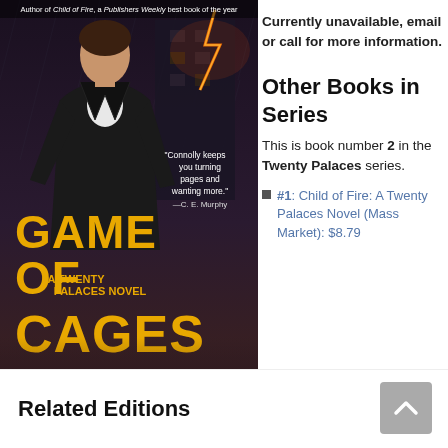[Figure (illustration): Book cover for 'Game of Cages: A Twenty Palaces Novel' by Harry Connolly. Shows a man in a dark jacket against a stormy background with a building and lightning. Yellow title text reads 'GAME OF CAGES' with subtitle 'A TWENTY PALACES NOVEL'. Quote: 'Connolly keeps you turning pages and wanting more.' —C. E. Murphy. Author tagline: Author of Child of Fire, a Publishers Weekly best book of the year.]
Currently unavailable, email or call for more information.
Other Books in Series
This is book number 2 in the Twenty Palaces series.
#1: Child of Fire: A Twenty Palaces Novel (Mass Market): $8.79
Related Editions